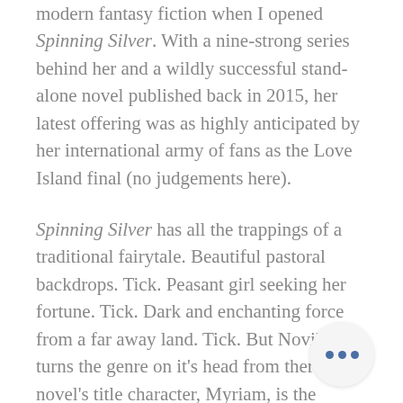modern fantasy fiction when I opened Spinning Silver. With a nine-strong series behind her and a wildly successful stand-alone novel published back in 2015, her latest offering was as highly anticipated by her international army of fans as the Love Island final (no judgements here).
Spinning Silver has all the trappings of a traditional fairytale. Beautiful pastoral backdrops. Tick. Peasant girl seeking her fortune. Tick. Dark and enchanting force from a far away land. Tick. But Novik turns the genre on it's head from there. The novel's title character, Myriam, is the daughter of an unsuccessful moneylender. She decides to take the family business into